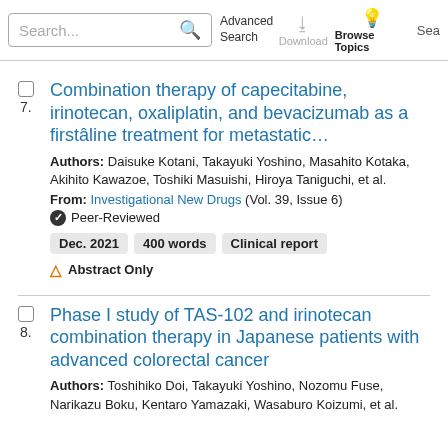Search... [search icon] Advanced Search | Download | Browse Topics | Sea...
Combination therapy of capecitabine, irinotecan, oxaliplatin, and bevacizumab as a first‐line treatment for metastatic…
Authors: Daisuke Kotani, Takayuki Yoshino, Masahito Kotaka, Akihito Kawazoe, Toshiki Masuishi, Hiroya Taniguchi, et al.
From: Investigational New Drugs (Vol. 39, Issue 6)
✔ Peer-Reviewed
Dec. 2021   400 words   Clinical report
⚠ Abstract Only
Phase I study of TAS-102 and irinotecan combination therapy in Japanese patients with advanced colorectal cancer
Authors: Toshihiko Doi, Takayuki Yoshino, Nozomu Fuse, Narikazu Boku, Kentaro Yamazaki, Wasaburo Koizumi, et al.